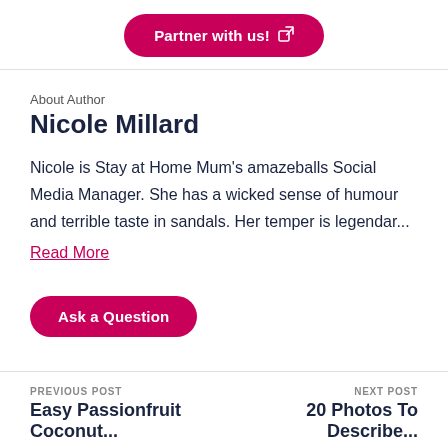[Figure (other): Pink rounded button labeled 'Partner with us!' with external link icon]
About Author
Nicole Millard
Nicole is Stay at Home Mum's amazeballs Social Media Manager. She has a wicked sense of humour and terrible taste in sandals. Her temper is legendar...
Read More
[Figure (other): Pink rounded button labeled 'Ask a Question']
PREVIOUS POST
Easy Passionfruit Coconut...
NEXT POST
20 Photos To Describe...